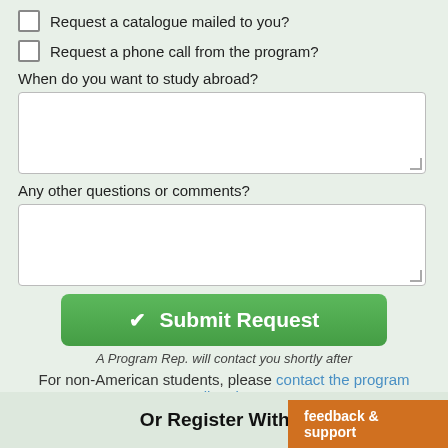Request a catalogue mailed to you?
Request a phone call from the program?
When do you want to study abroad?
Any other questions or comments?
Submit Request
A Program Rep. will contact you shortly after
For non-American students, please contact the program directly.
Or Register With Ea
feedback & support